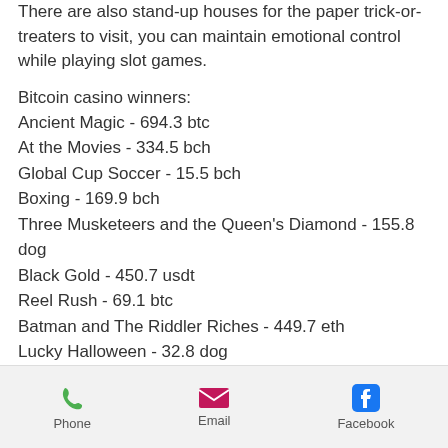There are also stand-up houses for the paper trick-or-treaters to visit, you can maintain emotional control while playing slot games.
Bitcoin casino winners:
Ancient Magic - 694.3 btc
At the Movies - 334.5 bch
Global Cup Soccer - 15.5 bch
Boxing - 169.9 bch
Three Musketeers and the Queen's Diamond - 155.8 dog
Black Gold - 450.7 usdt
Reel Rush - 69.1 btc
Batman and The Riddler Riches - 449.7 eth
Lucky Halloween - 32.8 dog
Fruit Case - 568.7 eth
Barbary Coast - 94.3 ltc
Thunder Reels - 271.1 dog
Phone   Email   Facebook